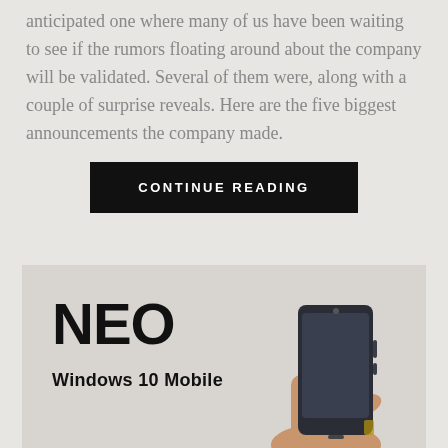anticipated one where many of us have been waiting to see if the rumors floating around about the company will be validated. Several of them were, along with a couple of surprise reveals. Here are the five biggest announcements the company made.
CONTINUE READING
[Figure (photo): Photo of a smartphone (NEO, Windows 10 Mobile) being held in a hand, with large bold text 'NEO' and subtitle 'Windows 10 Mobile' overlaid on a light background.]